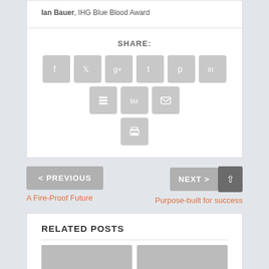Ian Bauer, IHG Blue Blood Award
SHARE:
[Figure (infographic): Row of social media share icons (Facebook, Twitter, Google+, Tumblr, Pinterest, LinkedIn, Buffer, StumbleUpon, Email) and a print icon below, all shown as grey rounded squares with white symbols.]
< PREVIOUS
NEXT >
A Fire-Proof Future
Purpose-built for success
RELATED POSTS
[Figure (photo): Two partial thumbnail images for related posts at the bottom of the page.]